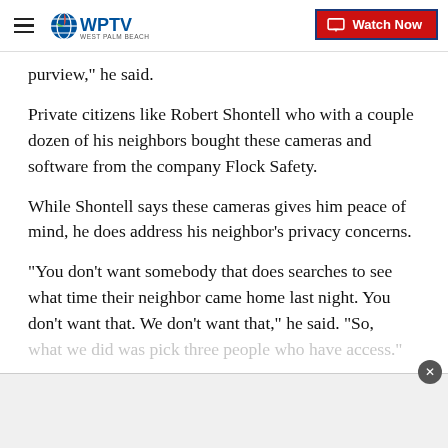WPTV West Palm Beach | Watch Now
purview," he said.
Private citizens like Robert Shontell who with a couple dozen of his neighbors bought these cameras and software from the company Flock Safety.
While Shontell says these cameras gives him peace of mind, he does address his neighbor’s privacy concerns.
“You don’t want somebody that does searches to see what time their neighbor came home last night. You don’t want that. We don’t want that,” he said. “So, what we did was pick three people who have access.”